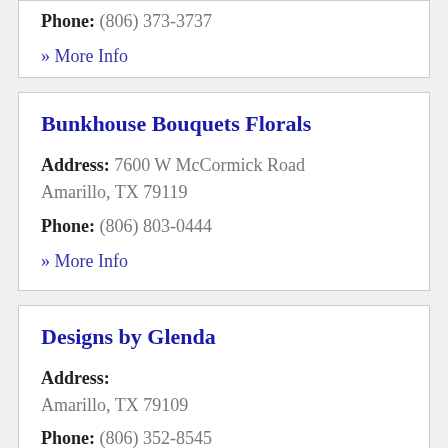Phone: (806) 373-3737
» More Info
Bunkhouse Bouquets Florals
Address: 7600 W McCormick Road Amarillo, TX 79119
Phone: (806) 803-0444
» More Info
Designs by Glenda
Address: Amarillo, TX 79109
Phone: (806) 352-8545
» More Info